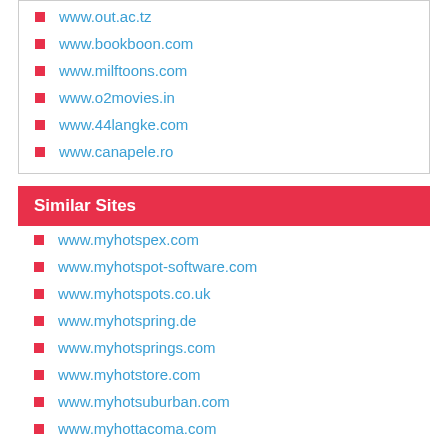www.out.ac.tz
www.bookboon.com
www.milftoons.com
www.o2movies.in
www.44langke.com
www.canapele.ro
Similar Sites
www.myhotspex.com
www.myhotspot-software.com
www.myhotspots.co.uk
www.myhotspring.de
www.myhotsprings.com
www.myhotstore.com
www.myhotsuburban.com
www.myhottacoma.com
www.myhottahoe.com
www.myhottalon.com